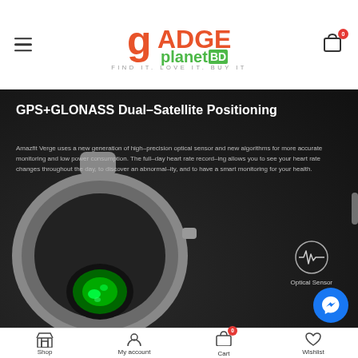Gadget Planet BD — FIND IT. LOVE IT. BUY IT
[Figure (photo): Product marketing image on dark background showing Amazfit Verge smartwatch with green optical sensor glowing, and an optical sensor icon with circle border on the right side. Title: GPS+GLONASS Dual–Satellite Positioning. Body text about heart rate monitoring and optical sensor.]
Shop | My account | Cart (0) | Wishlist